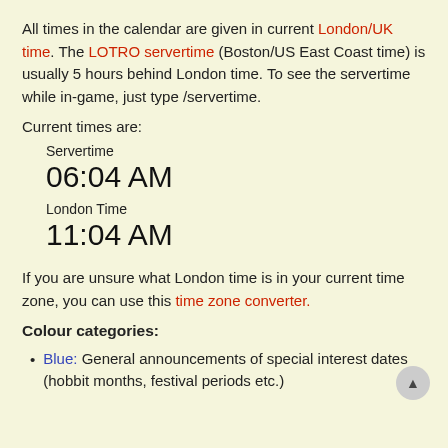All times in the calendar are given in current London/UK time. The LOTRO servertime (Boston/US East Coast time) is usually 5 hours behind London time. To see the servertime while in-game, just type /servertime.
Current times are:
Servertime
06:04 AM
London Time
11:04 AM
If you are unsure what London time is in your current time zone, you can use this time zone converter.
Colour categories:
Blue: General announcements of special interest dates (hobbit months, festival periods etc.)